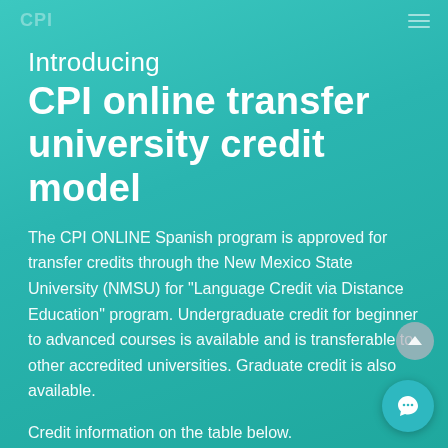CPI
Introducing CPI online transfer university credit model
The CPI ONLINE Spanish program is approved for transfer credits through the New Mexico State University (NMSU) for "Language Credit via Distance Education" program. Undergraduate credit for beginner to advanced courses is available and is transferable to other accredited universities. Graduate credit is also available.
Credit information on the table below.